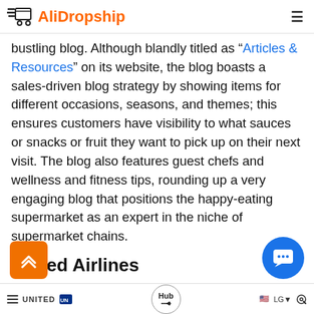AliDropship
bustling blog. Although blandly titled as “Articles & Resources” on its website, the blog boasts a sales-driven blog strategy by showing items for different occasions, seasons, and themes; this ensures customers have visibility to what sauces or snacks or fruit they want to pick up on their next visit. The blog also features guest chefs and wellness and fitness tips, rounding up a very engaging blog that positions the happy-eating supermarket as an expert in the niche of supermarket chains.
United Airlines